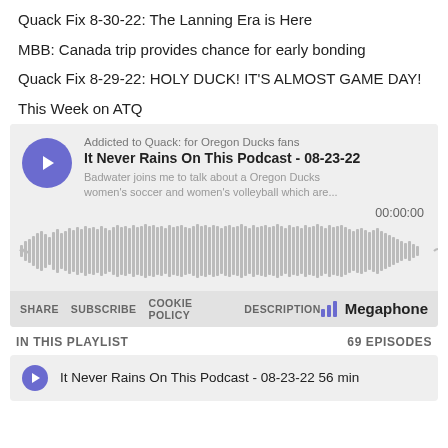Quack Fix 8-30-22: The Lanning Era is Here
MBB: Canada trip provides chance for early bonding
Quack Fix 8-29-22: HOLY DUCK! IT'S ALMOST GAME DAY!
This Week on ATQ
[Figure (screenshot): Embedded Megaphone podcast player showing 'Addicted to Quack: for Oregon Ducks fans' podcast, episode 'It Never Rains On This Podcast - 08-23-22', with waveform, timestamp 00:00:00, and controls: SHARE, SUBSCRIBE, COOKIE POLICY, DESCRIPTION, Megaphone logo]
IN THIS PLAYLIST    69 EPISODES
It Never Rains On This Podcast - 08-23-22  56 min